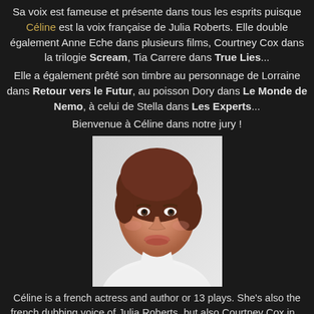Sa voix est fameuse et présente dans tous les esprits puisque Céline est la voix française de Julia Roberts. Elle double également Anne Eche dans plusieurs films, Courtney Cox dans la trilogie Scream, Tia Carrere dans True Lies...
Elle a également prêté son timbre au personnage de Lorraine dans Retour vers le Futur, au poisson Dory dans Le Monde de Nemo, à celui de Stella dans Les Experts...
Bienvenue à Céline dans notre jury !
[Figure (photo): Portrait photo of Céline, a woman with short brown hair, smiling, wearing a white shirt, against a light background.]
Céline is a french actress and author or 13 plays. She's also the french dubbing voice of Julia Roberts, but also Courtney Cox in...